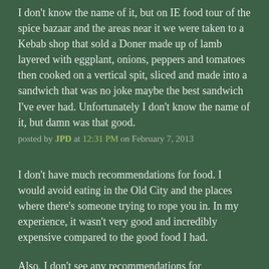I don't know the name of it, but on IE food tour of the spice bazaar and the areas near it we were taken to a Kebab shop that sold a Doner made up of lamb layered with eggplant, onions, peppers and tomatoes then cooked on a vertical spit, sliced and made into a sandwich that was no joke maybe the best sandwich I've ever had. Unfortunately I don't know the name of it, but damn was that good.
posted by JPD at 12:31 PM on February 7, 2013
I don't have much recommendations for food. I would avoid eating in the Old City and the places where there's someone trying to rope you in. In my experience, it wasn't very good and incredibly expensive compared to the good food I had.
Also, I don't see any recommendations for Dolmabahçe Palace and I urge you to go. You get a tour in English when